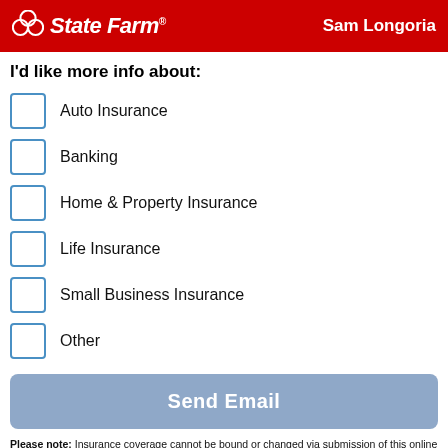State Farm — Sam Longoria
I'd like more info about:
Auto Insurance
Banking
Home & Property Insurance
Life Insurance
Small Business Insurance
Other
Send Email
Please note: Insurance coverage cannot be bound or changed via submission of this online e-mail form or via voice mail. To make policy changes or request additional coverage, please speak with a licensed representative in the agent's office, or by contacting the State Farm toll-free customer service line at (855) 733-7333 .
By filling out the form, you are providing express consent by electronic signature that you may be contacted by telephone (via call and/or text messages) and/or email for marketing purposes by State Farm Mutual Automobile Insurance